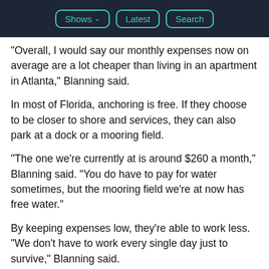Shows | Latest | Search
“Overall, I would say our monthly expenses now on average are a lot cheaper than living in an apartment in Atlanta,” Blanning said.
In most of Florida, anchoring is free. If they choose to be closer to shore and services, they can also park at a dock or a mooring field.
“The one we’re currently at is around $260 a month,” Blanning said. “You do have to pay for water sometimes, but the mooring field we’re at now has free water.”
By keeping expenses low, they’re able to work less. “We don’t have to work every single day just to survive,” Blanning said.